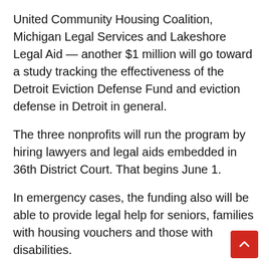United Community Housing Coalition, Michigan Legal Services and Lakeshore Legal Aid — another $1 million will go toward a study tracking the effectiveness of the Detroit Eviction Defense Fund and eviction defense in Detroit in general.
The three nonprofits will run the program by hiring lawyers and legal aids embedded in 36th District Court. That begins June 1.
In emergency cases, the funding also will be able to provide legal help for seniors, families with housing vouchers and those with disabilities.
“This is a huge moment for the people of Detroit, knowing that one day soon if they are facing eviction, they will have an attorney with them to help them through the process and represent them. It’s true that this is just the beginning. We aren’t yet fully funded and we’re just getting started,” said